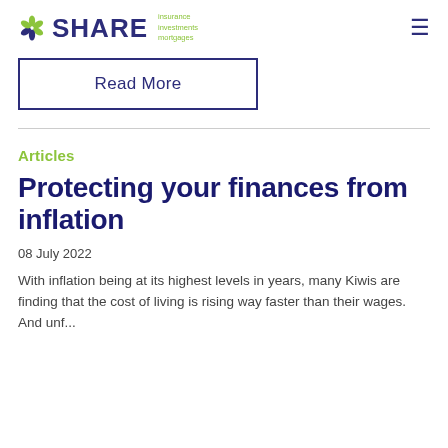[Figure (logo): SHARE logo with green flower icon and tagline: insurance, investments, mortgages]
Read More
Articles
Protecting your finances from inflation
08 July 2022
With inflation being at its highest levels in years, many Kiwis are finding that the cost of living is rising way faster than their wages. And unf...